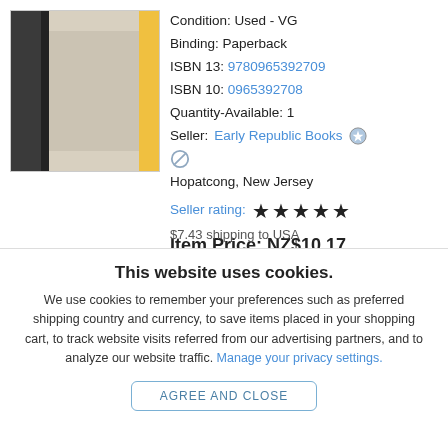[Figure (photo): Book cover image showing spine and back cover, partially visible, yellow and gray tones]
Condition: Used - VG
Binding: Paperback
ISBN 13: 9780965392709
ISBN 10: 0965392708
Quantity-Available: 1
Seller: Early Republic Books
Hopatcong, New Jersey
Seller rating: ★★★★★
Item Price: NZ$10.17
$7.43 shipping to USA
This website uses cookies.
We use cookies to remember your preferences such as preferred shipping country and currency, to save items placed in your shopping cart, to track website visits referred from our advertising partners, and to analyze our website traffic. Manage your privacy settings.
AGREE AND CLOSE